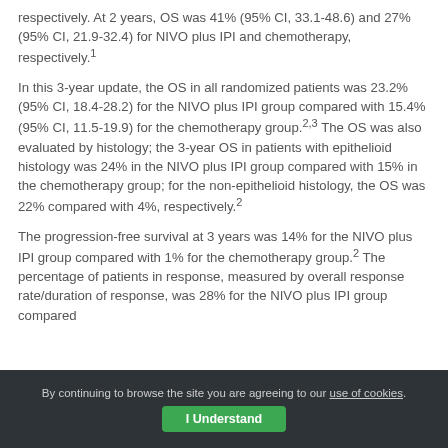respectively. At 2 years, OS was 41% (95% CI, 33.1-48.6) and 27% (95% CI, 21.9-32.4) for NIVO plus IPI and chemotherapy, respectively.¹
In this 3-year update, the OS in all randomized patients was 23.2% (95% CI, 18.4-28.2) for the NIVO plus IPI group compared with 15.4% (95% CI, 11.5-19.9) for the chemotherapy group.²,³ The OS was also evaluated by histology; the 3-year OS in patients with epithelioid histology was 24% in the NIVO plus IPI group compared with 15% in the chemotherapy group; for the non-epithelioid histology, the OS was 22% compared with 4%, respectively.²
The progression-free survival at 3 years was 14% for the NIVO plus IPI group compared with 1% for the chemotherapy group.² The percentage of patients in response, measured by overall response rate/duration of response, was 28% for the NIVO plus IPI group compared
By continuing to browse the site you are agreeing to our use of cookies. I Understand